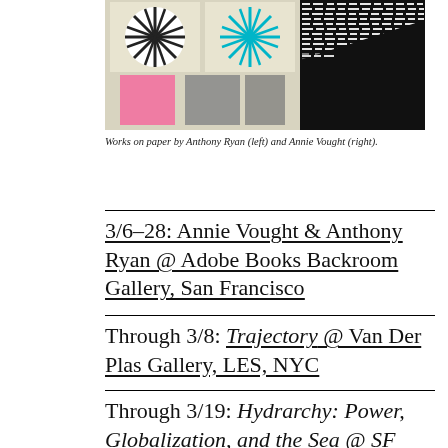[Figure (photo): Works on paper artwork collage showing geometric patterns including sunburst/star patterns in black and cyan/teal, pink rectangular shapes, gray rectangles, and dense black-and-white cross-hatched patterns on the right side.]
Works on paper by Anthony Ryan (left) and Annie Vought (right).
3/6–28: Annie Vought & Anthony Ryan @ Adobe Books Backroom Gallery, San Francisco
Through 3/8: Trajectory @ Van Der Plas Gallery, LES, NYC
Through 3/19: Hydrarchy: Power, Globalization, and the Sea @ SF